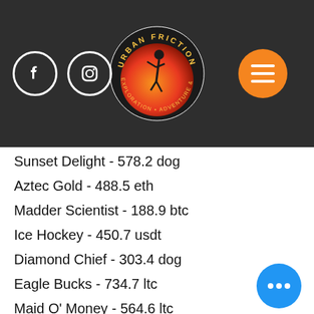[Figure (logo): Urban Friction Exploration Adventure & Climbing Co. logo with climbing figure, orange/red gradient circle, and surrounding text ring. Facebook and Instagram icons on the left, orange hamburger menu button on the right. Dark header bar.]
Sunset Delight - 578.2 dog
Aztec Gold - 488.5 eth
Madder Scientist - 188.9 btc
Ice Hockey - 450.7 usdt
Diamond Chief - 303.4 dog
Eagle Bucks - 734.7 ltc
Maid O' Money - 564.6 ltc
7th Heaven - 180.1 eth
Dragon Lines - 158.7 dog
Bonanza - 62.3 btc
Popular Slots:
Vegas Crest Casino Sugarpop
mBit Casino Jack's Beanstalk
FortuneJack Casino Agent Jane Blonde
OneHash Frogged